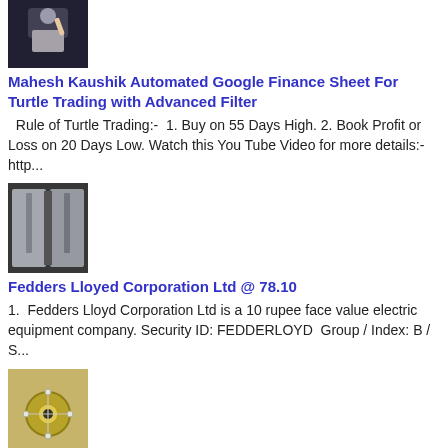[Figure (photo): Thumbnail of a man in a white vest raising his hand, appearing to be a teacher or presenter in front of a board]
Mahesh Kaushik Automated Google Finance Sheet For Turtle Trading with Advanced Filter
Rule of Turtle Trading:-  1. Buy on 55 Days High. 2. Book Profit or Loss on 20 Days Low. Watch this You Tube Video for more details:- http...
[Figure (photo): Thumbnail showing doors of what appears to be an air conditioning or refrigeration unit]
Fedders Lloyed Corporation Ltd @ 78.10
1.  Fedders Lloyd Corporation Ltd is a 10 rupee face value electric equipment company. Security ID: FEDDERLOYD  Group / Index: B / S...
[Figure (photo): Thumbnail showing jewellery - an ornate gold brooch or necklace piece with diamonds]
Renaissance Jewellery Ltd @140.15
1. Renaissance Jewellery Ltd is a 10 rupee face value Diamond Cutting & Jewellery & Precious Metals company. BSE Code: 532923 | N...
[Figure (photo): Partial thumbnail at bottom of page]